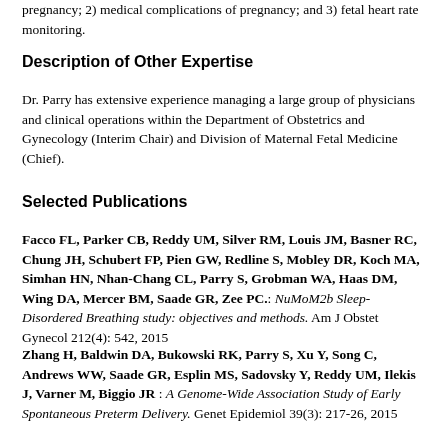pregnancy; 2) medical complications of pregnancy; and 3) fetal heart rate monitoring.
Description of Other Expertise
Dr. Parry has extensive experience managing a large group of physicians and clinical operations within the Department of Obstetrics and Gynecology (Interim Chair) and Division of Maternal Fetal Medicine (Chief).
Selected Publications
Facco FL, Parker CB, Reddy UM, Silver RM, Louis JM, Basner RC, Chung JH, Schubert FP, Pien GW, Redline S, Mobley DR, Koch MA, Simhan HN, Nhan-Chang CL, Parry S, Grobman WA, Haas DM, Wing DA, Mercer BM, Saade GR, Zee PC.: NuMoM2b Sleep-Disordered Breathing study: objectives and methods. Am J Obstet Gynecol 212(4): 542, 2015
Zhang H, Baldwin DA, Bukowski RK, Parry S, Xu Y, Song C, Andrews WW, Saade GR, Esplin MS, Sadovsky Y, Reddy UM, Ilekis J, Varner M, Biggio JR : A Genome-Wide Association Study of Early Spontaneous Preterm Delivery. Genet Epidemiol 39(3): 217-26, 2015